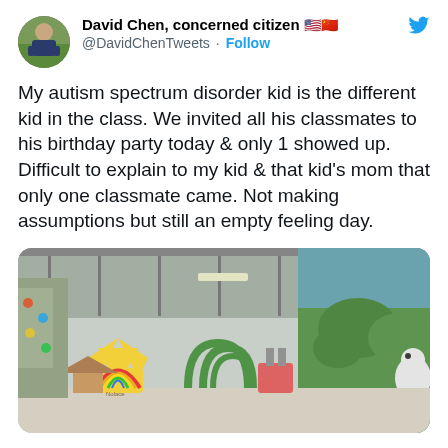[Figure (screenshot): Twitter/X profile header with avatar photo of David Chen (man in suit at a colorful indoor playground), display name 'David Chen, concerned citizen' with flag emojis, handle @DavidChenTweets, Follow button, and Twitter bird icon]
My autism spectrum disorder kid is the different kid in the class. We invited all his classmates to his birthday party today & only 1 showed up. Difficult to explain to my kid & that kid's mom that only one classmate came. Not making assumptions but still an empty feeling day.
[Figure (photo): Indoor children's play area/birthday party venue with colorful inflatable play structures in yellow and rainbow colors, green and blue jungle-themed wall murals, large open warehouse-style ceiling with industrial lighting, and a polar bear mural on the right wall. The space appears mostly empty.]